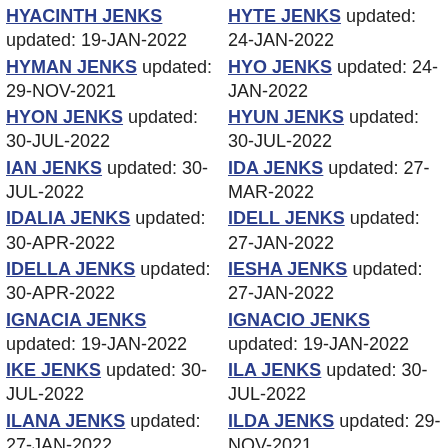HYACINTH JENKS updated: 19-JAN-2022
HYTE JENKS updated: 24-JAN-2022
HYMAN JENKS updated: 29-NOV-2021
HYO JENKS updated: 24-JAN-2022
HYON JENKS updated: 30-JUL-2022
HYUN JENKS updated: 30-JUL-2022
IAN JENKS updated: 30-JUL-2022
IDA JENKS updated: 27-MAR-2022
IDALIA JENKS updated: 30-APR-2022
IDELL JENKS updated: 27-JAN-2022
IDELLA JENKS updated: 30-APR-2022
IESHA JENKS updated: 27-JAN-2022
IGNACIA JENKS updated: 19-JAN-2022
IGNACIO JENKS updated: 19-JAN-2022
IKE JENKS updated: 30-JUL-2022
ILA JENKS updated: 30-JUL-2022
ILANA JENKS updated: 27-JAN-2022
ILDA JENKS updated: 29-NOV-2021
ILEANA JENKS updated: 30-APR-2022
ILEEN JENKS updated: 27-JAN-2022